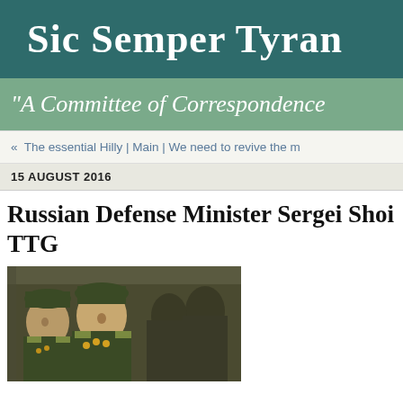Sic Semper Tyran
"A Committee of Correspondence
« The essential Hilly | Main | We need to revive the m
15 AUGUST 2016
Russian Defense Minister Sergei Shoi TTG
[Figure (photo): Photo of Russian military officers in uniform, including what appears to be Defense Minister Sergei Shoigu]